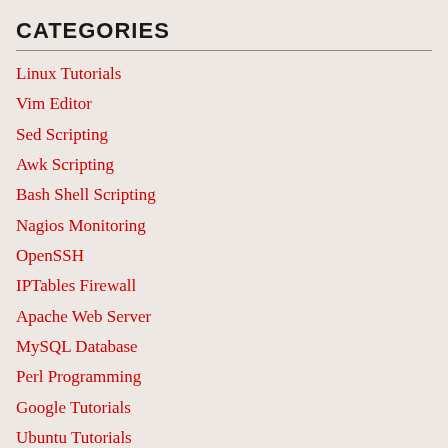CATEGORIES
Linux Tutorials
Vim Editor
Sed Scripting
Awk Scripting
Bash Shell Scripting
Nagios Monitoring
OpenSSH
IPTables Firewall
Apache Web Server
MySQL Database
Perl Programming
Google Tutorials
Ubuntu Tutorials
PostgreSQL DB